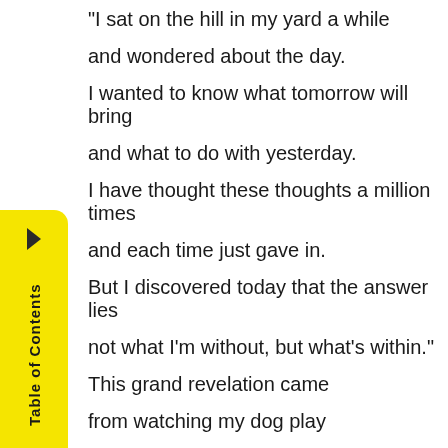"I sat on the hill in my yard a while

and wondered about the day.

I wanted to know what tomorrow will bring

and what to do with yesterday.

I have thought these thoughts a million times

and each time just gave in.

But I discovered today that the answer lies

not what I'm without, but what's within."

This grand revelation came

from watching my dog play

with a blade of grass.